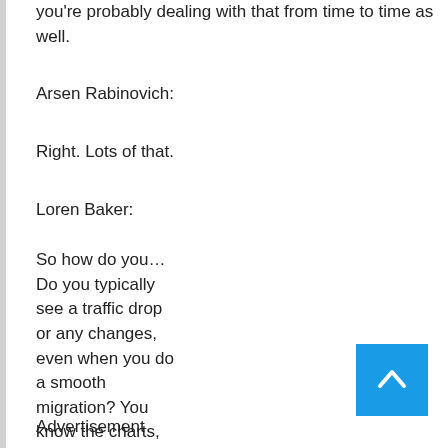you're probably dealing with that from time to time as well.
Arsen Rabinovich:
Right. Lots of that.
Loren Baker:
So how do you… Do you typically see a traffic drop or any changes, even when you do a smooth migration? You know the charts, you see the chart on certain projects, where you have the blue line, and then the green line or whatever. There's usually that little V or that little X or whatever. Do you see much of a difference from a ranking perspective on a clean migration versus a dirty migration?
Advertisement